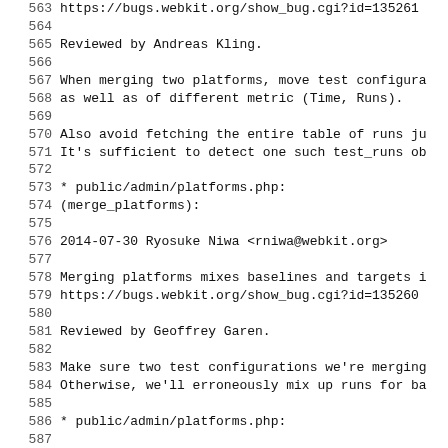563 ... https://bugs.webkit.org/show_bug.cgi?id=... (truncated)
564
565         Reviewed by Andreas Kling.
566
567         When merging two platforms, move test configura
568         as well as of different metric (Time, Runs).
569
570         Also avoid fetching the entire table of runs ju
571         It's sufficient to detect one such test_runs ob
572
573         * public/admin/platforms.php:
574         (merge_platforms):
575
576 2014-07-30  Ryosuke Niwa  <rniwa@webkit.org>
577
578         Merging platforms mixes baselines and targets i
579         https://bugs.webkit.org/show_bug.cgi?id=135260
580
581         Reviewed by Geoffrey Garen.
582
583         Make sure two test configurations we're merging
584         Otherwise, we'll erroneously mix up runs for ba
585
586         * public/admin/platforms.php:
587
588 2014-07-23  Ryosuke Niwa  <rniwa@webkit.org>
589
590         Build fix after r171361.
591
592         * public/js/helper-classes.js:
593         (.this.formattedBuildTime):
594
595 2014-07-22  Ryosuke Niwa  <rniwa@webkit.org>